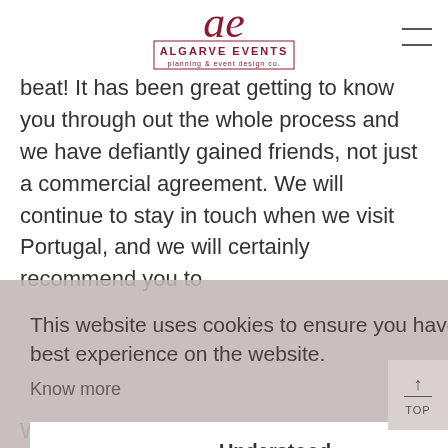[Figure (logo): Algarve Events logo with stylized 'ae' monogram and text 'ALGARVE EVENTS planning & event design co.']
beat! It has been great getting to know you through out the whole process and we have defiantly gained friends, not just a commercial agreement. We will continue to stay in touch when we visit Portugal, and we will certainly recommend you to
This website uses cookies to ensure you have the best experience on the website. Know more
Understood
We had Algarve events for our Wedding